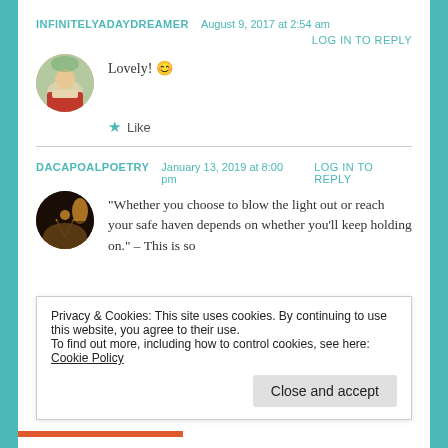INFINITELYADAYDREAMER   August 9, 2017 at 2:54 am
LOG IN TO REPLY
Lovely! 😊
★ Like
DACAPOALPOETRY   January 13, 2019 at 8:00 pm   LOG IN TO REPLY
"Whether you choose to blow the light out or reach your safe haven depends on whether you'll keep holding on." – This is so
Privacy & Cookies: This site uses cookies. By continuing to use this website, you agree to their use. To find out more, including how to control cookies, see here: Cookie Policy
Close and accept